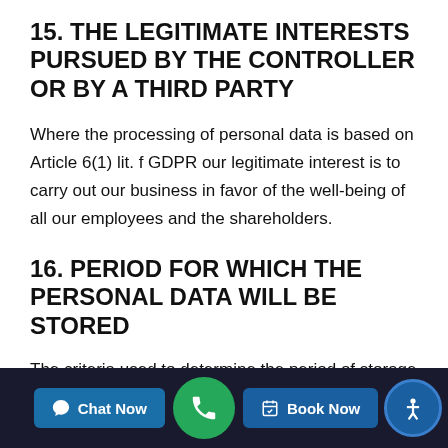15. THE LEGITIMATE INTERESTS PURSUED BY THE CONTROLLER OR BY A THIRD PARTY
Where the processing of personal data is based on Article 6(1) lit. f GDPR our legitimate interest is to carry out our business in favor of the well-being of all our employees and the shareholders.
16. PERIOD FOR WHICH THE PERSONAL DATA WILL BE STORED
The criteria used to determine the period of storage of personal data is the statutory retention period. After expiration of that period, the